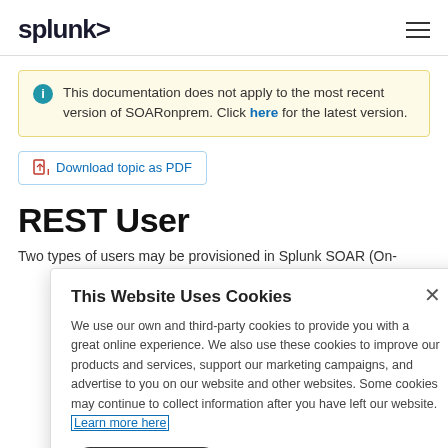splunk>  ≡
This documentation does not apply to the most recent version of SOARonprem. Click here for the latest version.
Download topic as PDF
REST User
Two types of users may be provisioned in Splunk SOAR (On-
This Website Uses Cookies
We use our own and third-party cookies to provide you with a great online experience. We also use these cookies to improve our products and services, support our marketing campaigns, and advertise to you on our website and other websites. Some cookies may continue to collect information after you have left our website. Learn more here
Accept Cookies   Cookies Settings ›